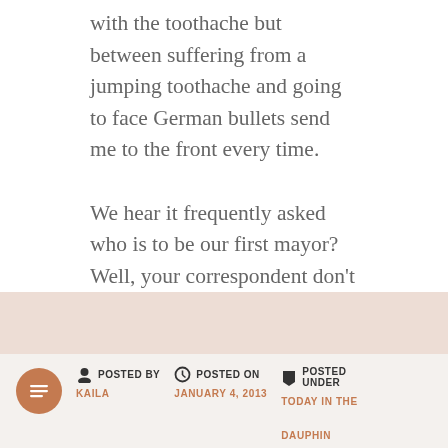with the toothache but between suffering from a jumping toothache and going to face German bullets send me to the front every time.
We hear it frequently asked who is to be our first mayor? Well, your correspondent don't know, but of course, he must be good looking, affable, popular with the ladies and have a few other qualifications. Does this point to Joise or Frank.
POSTED BY KAILA | POSTED ON JANUARY 4, 2013 | POSTED UNDER TODAY IN THE DAUPHIN HERALD